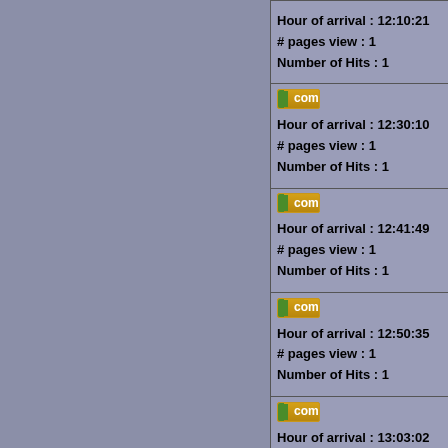| Visitor Info | Time Info |
| --- | --- |
| com
Hour of arrival : 12:10:21
# pages view : 1
Number of Hits : 1 | 00-00-0 |
| com
Hour of arrival : 12:30:10
# pages view : 1
Number of Hits : 1 | Time of
00-00-0 |
| com
Hour of arrival : 12:41:49
# pages view : 1
Number of Hits : 1 | Time of
00-00-0 |
| com
Hour of arrival : 12:50:35
# pages view : 1
Number of Hits : 1 | Time of
00-00-0 |
| com
Hour of arrival : 13:03:02
# pages view : 1
Number of Hits : 1 | Time of
00-00-0 |
| com
Hour of arrival : 13:09:12
# pages view : 1
Number of Hits : 1 | Time of
00-00-0 |